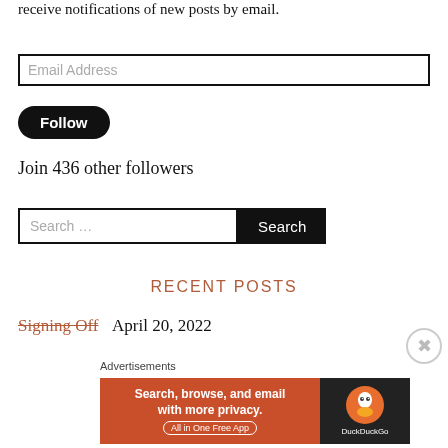receive notifications of new posts by email.
Email Address
Follow
Join 436 other followers
Search …
RECENT POSTS
Signing Off April 20, 2022
Advertisements
[Figure (other): DuckDuckGo advertisement banner: 'Search, browse, and email with more privacy. All in One Free App' with DuckDuckGo logo on dark background]